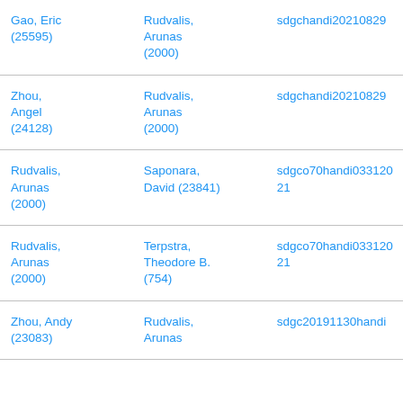| Gao, Eric (25595) | Rudvalis, Arunas (2000) | sdgchandi20210829 |
| Zhou, Angel (24128) | Rudvalis, Arunas (2000) | sdgchandi20210829 |
| Rudvalis, Arunas (2000) | Saponara, David (23841) | sdgco70handi03312021 |
| Rudvalis, Arunas (2000) | Terpstra, Theodore B. (754) | sdgco70handi03312021 |
| Zhou, Andy (23083) | Rudvalis, Arunas | sdgc20191130handi |